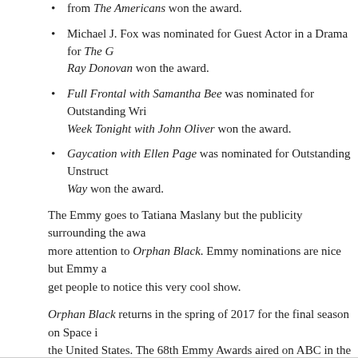Molly Parker was nominated for Guest Actress in a Drama for House... from The Americans won the award.
Michael J. Fox was nominated for Guest Actor in a Drama for The G... Ray Donovan won the award.
Full Frontal with Samantha Bee was nominated for Outstanding Wri... Week Tonight with John Oliver won the award.
Gaycation with Ellen Page was nominated for Outstanding Unstruct... Way won the award.
The Emmy goes to Tatiana Maslany but the publicity surrounding the awa... more attention to Orphan Black. Emmy nominations are nice but Emmy aw... get people to notice this very cool show.
Orphan Black returns in the spring of 2017 for the final season on Space i... the United States. The 68th Emmy Awards aired on ABC in the United Sta...
screen grabs:Emmys/ABC
Posted at 07:00 AM in cable TV U.S., Canadian society, Canadian TV, television, U.S. s...
Reblog (0)
Comments
You can follow this conversation by subscribing to the comment feed fo...